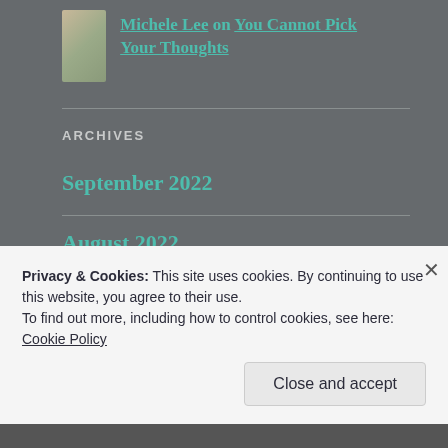Michele Lee on You Cannot Pick Your Thoughts
ARCHIVES
September 2022
August 2022
July 2022
Privacy & Cookies: This site uses cookies. By continuing to use this website, you agree to their use.
To find out more, including how to control cookies, see here: Cookie Policy
Close and accept